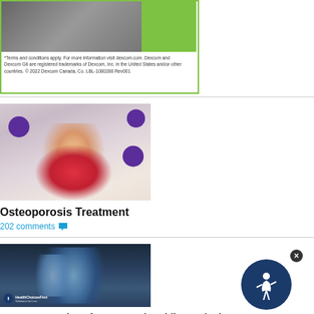[Figure (photo): Top portion of ad with person holding device, green accent panel, Dexcom branding]
*Terms and conditions apply. For more information visit dexcom.com. Dexcom and Dexcom G6 are registered trademarks of Dexcom, Inc. in the United States and/or other countries. © 2022 Dexcom Canada, Co. LBL-1000288 Rev001
[Figure (photo): Elderly woman smiling and holding purple dumbbells, exercising]
Osteoporosis Treatment
202 comments
[Figure (photo): X-ray / MRI image of a knee joint with HealthChoicesFirst logo overlay]
Treatment Options for Knee Pain While Gardening " Agnes a 52-year-old with medial-sided knee pain "
49 comments
[Figure (logo): HealthChoicesFirst circular dark blue logo with figure icon, with close button]